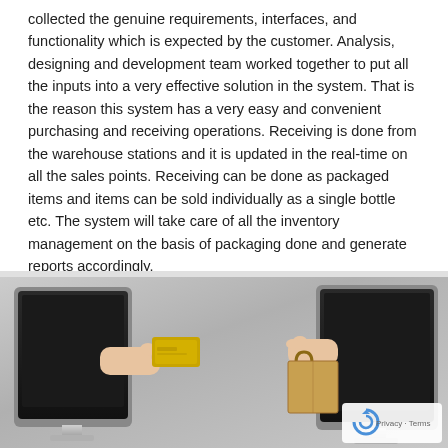collected the genuine requirements, interfaces, and functionality which is expected by the customer. Analysis, designing and development team worked together to put all the inputs into a very effective solution in the system. That is the reason this system has a very easy and convenient purchasing and receiving operations. Receiving is done from the warehouse stations and it is updated in the real-time on all the sales points. Receiving can be done as packaged items and items can be sold individually as a single bottle etc. The system will take care of all the inventory management on the basis of packaging done and generate reports accordingly.
[Figure (photo): Two computer monitors facing each other. A hand extends from the left monitor holding a gold credit card. Another hand extends from the right monitor holding a brown paper shopping bag. The background is a gradient gray, suggesting an online shopping or e-commerce concept. A reCAPTCHA privacy badge appears in the bottom-right corner.]